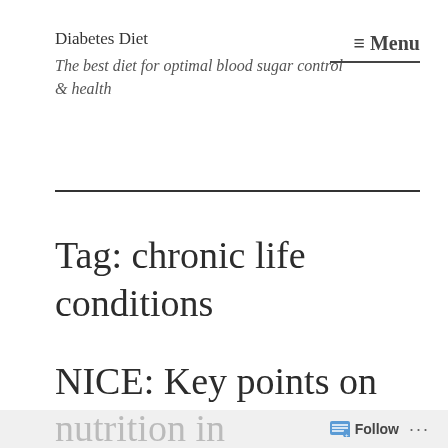Diabetes Diet
The best diet for optimal blood sugar control & health
≡ Menu
Tag: chronic life conditions
NICE: Key points on